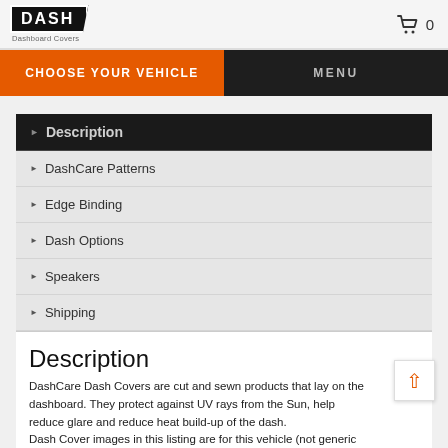DASH CARE Dashboard Covers — Cart: 0
CHOOSE YOUR VEHICLE | MENU
Description
DashCare Patterns
Edge Binding
Dash Options
Speakers
Shipping
Description
DashCare Dash Covers are cut and sewn products that lay on the dashboard. They protect against UV rays from the Sun, help reduce glare and reduce heat build-up of the dash.
Dash Cover images in this listing are for this vehicle (not generic images).